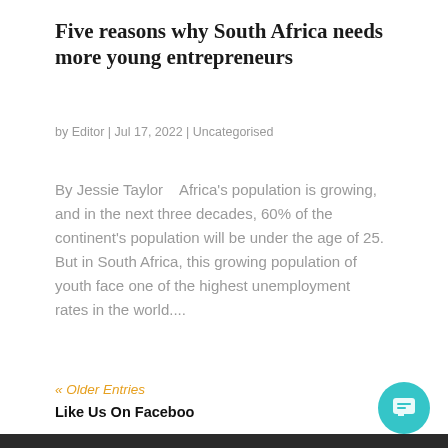Five reasons why South Africa needs more young entrepreneurs
by Editor | Jul 17, 2022 | Uncategorised
By Jessie Taylor    Africa's population is growing, and in the next three decades, 60% of the continent's population will be under the age of 25. But in South Africa, this growing population of youth face one of the highest unemployment rates in the world....
« Older Entries
Like Us On Faceboo
[Figure (screenshot): Chat popup overlay with close button (×) and message: Got any questions? I'm happy to help. A teal circular chat button appears in the bottom right corner.]